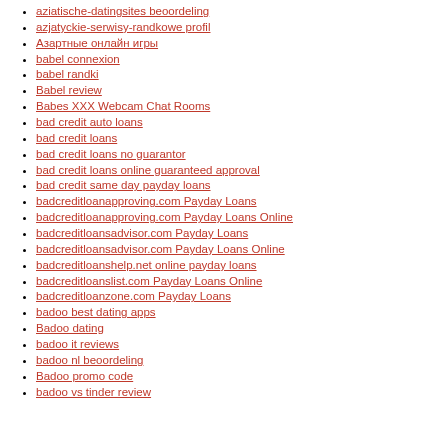aziatische-datingsites beoordeling
azjatyckie-serwisy-randkowe profil
Азартные онлайн игры
babel connexion
babel randki
Babel review
Babes XXX Webcam Chat Rooms
bad credit auto loans
bad credit loans
bad credit loans no guarantor
bad credit loans online guaranteed approval
bad credit same day payday loans
badcreditloanapproving.com Payday Loans
badcreditloanapproving.com Payday Loans Online
badcreditloansadvisor.com Payday Loans
badcreditloansadvisor.com Payday Loans Online
badcreditloanshelp.net online payday loans
badcreditloanslist.com Payday Loans Online
badcreditloanzone.com Payday Loans
badoo best dating apps
Badoo dating
badoo it reviews
badoo nl beoordeling
Badoo promo code
badoo vs tinder review